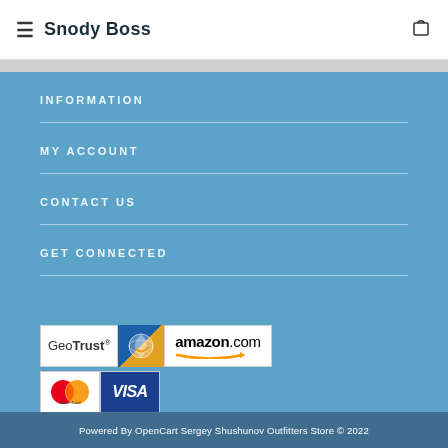≡ Snody Boss
INFORMATION
MY ACCOUNT
CONTACT US
GET CONNECTED
[Figure (logo): GeoTrust, globe/arrow, amazon.com, MasterCard, and Visa payment/trust logos]
Powered By OpenCart Sergey Shushunov Outfitters Store © 2022